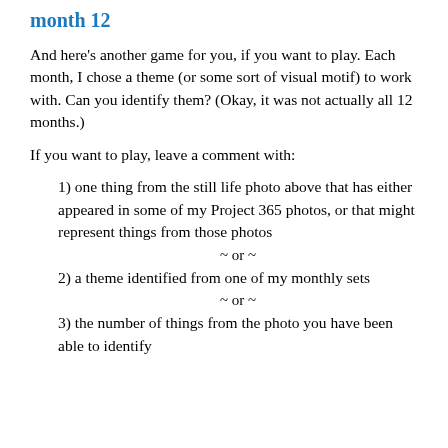month 12
And here’s another game for you, if you want to play. Each month, I chose a theme (or some sort of visual motif) to work with. Can you identify them? (Okay, it was not actually all 12 months.)
If you want to play, leave a comment with:
1) one thing from the still life photo above that has either appeared in some of my Project 365 photos, or that might represent things from those photos
~ or ~
2) a theme identified from one of my monthly sets
~ or ~
3) the number of things from the photo you have been able to identify